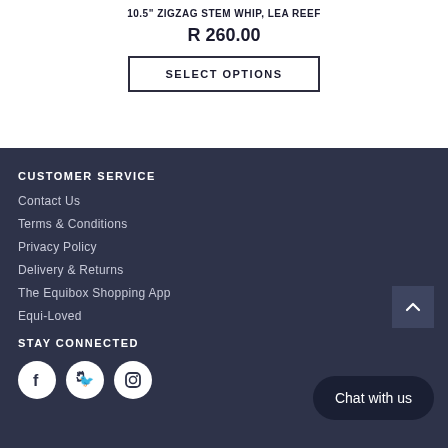10.5" ZIGZAG STEM WHIP, LEA REEF
R 260.00
SELECT OPTIONS
CUSTOMER SERVICE
Contact Us
Terms & Conditions
Privacy Policy
Delivery & Returns
The Equibox Shopping App
Equi-Loved
STAY CONNECTED
Chat with us